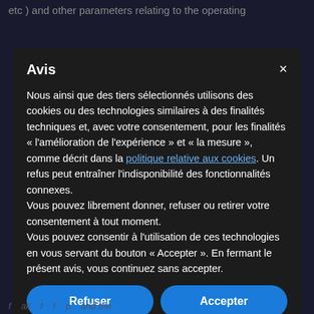etc ) and other parameters relating to the operating
Avis
Nous ainsi que des tiers sélectionnés utilisons des cookies ou des technologies similaires à des finalités techniques et, avec votre consentement, pour les finalités « l'amélioration de l'expérience » et « la mesure », comme décrit dans la politique relative aux cookies. Un refus peut entraîner l'indisponibilité des fonctionnalités connexes.
Vous pouvez librement donner, refuser ou retirer votre consentement à tout moment.
Vous pouvez consentir à l'utilisation de ces technologies en vous servant du bouton « Accepter ». En fermant le présent avis, vous continuez sans accepter.
Refuser
Accepter
En savoir plus et personnaliser
f... all... f... f... p... and the...